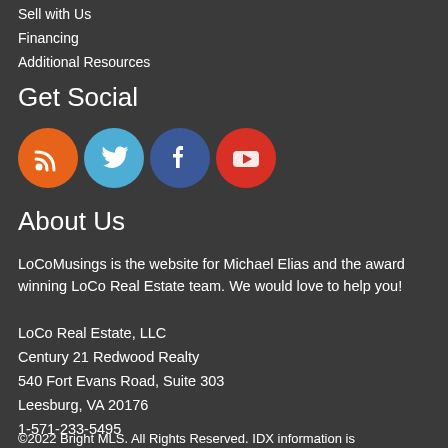Sell with Us
Financing
Additional Resources
Get Social
[Figure (illustration): Four social media icons: RSS (orange), Twitter (blue), Facebook (dark blue), YouTube (red)]
About Us
LoCoMusings is the website for Michael Elias and the award winning LoCo Real Estate team. We would love to help you!
LoCo Real Estate, LLC
Century 21 Redwood Realty
540 Fort Evans Road, Suite 303
Leesburg, VA 20176
1-571-233-5495
©2022 Bright MLS. All Rights Reserved. IDX information is